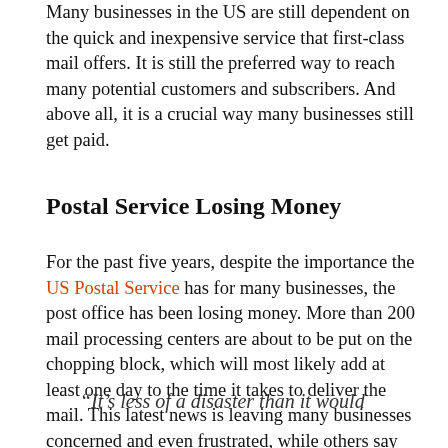Many businesses in the US are still dependent on the quick and inexpensive service that first-class mail offers. It is still the preferred way to reach many potential customers and subscribers. And above all, it is a crucial way many businesses still get paid.
Postal Service Losing Money
For the past five years, despite the importance the US Postal Service has for many businesses, the post office has been losing money. More than 200 mail processing centers are about to be put on the chopping block, which will most likely add at least one day to the time it takes to deliver the mail. This latest news is leaving many businesses concerned and even frustrated, while others say they haven't relied much on the post office in recent years.
“It’s less of a disaster than it would have been 10 years ago, but it’ll